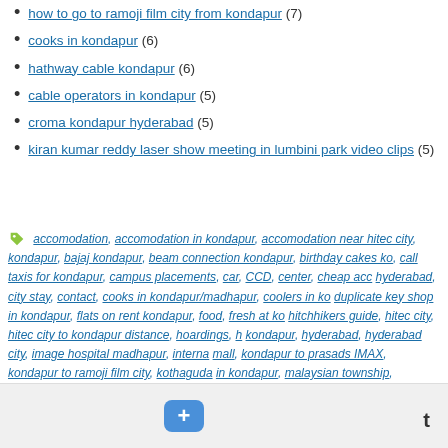how to go to ramoji film city from kondapur (7)
cooks in kondapur (6)
hathway cable kondapur (6)
cable operators in kondapur (5)
croma kondapur hyderabad (5)
kiran kumar reddy laser show meeting in lumbini park video clips (5)
accomodation, accomodation in kondapur, accomodation near hitec city, kondapur, bajaj kondapur, beam connection kondapur, birthday cakes ko, call taxis for kondapur, campus placements, car, CCD, center, cheap acc hyderabad, city stay, contact, cooks in kondapur/madhapur, coolers in ko duplicate key shop in kondapur, flats on rent kondapur, food, fresh at ko hitchhikers guide, hitec city, hitec city to kondapur distance, hoardings, h kondapur, hyderabad, hyderabad city, image hospital madhapur, interna mall, kondapur to prasads IMAX, kondapur to ramoji film city, kothaguda in kondapur, malaysian township, mcdonals kondapur, mineral water ko kondapur, reliance fresh, reliance fresh kondapur review, rent, rented fla RTO kondapur, safari nagar, sai baba temple, sangeetha mobiles konda technology hub, time, today, Update, way, weather in kondapur, whitefie
[Figure (other): Plus button icon and letter t in footer bar]